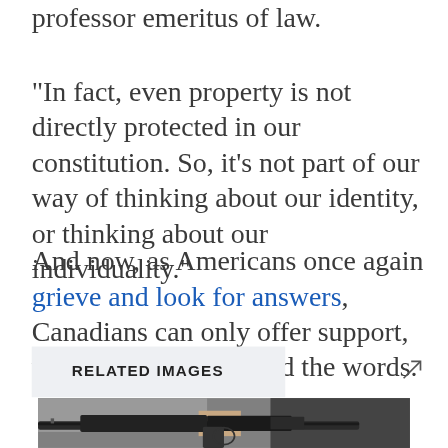professor emeritus of law.
"In fact, even property is not directly protected in our constitution. So, it's not part of our way of thinking about our identity, or thinking about our individuality."
And now, as Americans once again grieve and look for answers, Canadians can only offer support, while struggling to find the words.
RELATED IMAGES
[Figure (photo): Black and white photo of a person holding an assault-style rifle, partial view showing the barrel and the person's torso in a grey shirt.]